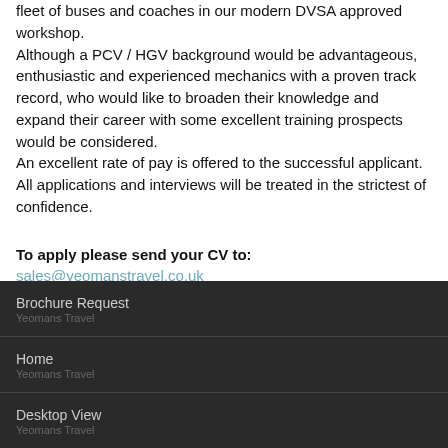fleet of buses and coaches in our modern DVSA approved workshop. Although a PCV / HGV background would be advantageous, enthusiastic and experienced mechanics with a proven track record, who would like to broaden their knowledge and expand their career with some excellent training prospects would be considered. An excellent rate of pay is offered to the successful applicant. All applications and interviews will be treated in the strictest of confidence.
To apply please send your CV to: sales@yeomanstravel.co.uk
Brochure Request | Home | Desktop View